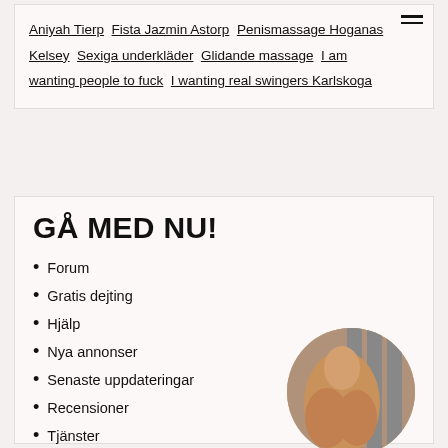Aniyah Tierp  Fista Jazmin Astorp  Penismassage Hoganas Kelsey  Sexiga underkläder  Glidande massage  I am wanting people to fuck  I wanting real swingers Karlskoga
GÅ MED NU!
Forum
Gratis dejting
Hjälp
Nya annonser
Senaste uppdateringar
Recensioner
Tjänster
[Figure (photo): Circular cropped photo of a person's torso against a striped background]